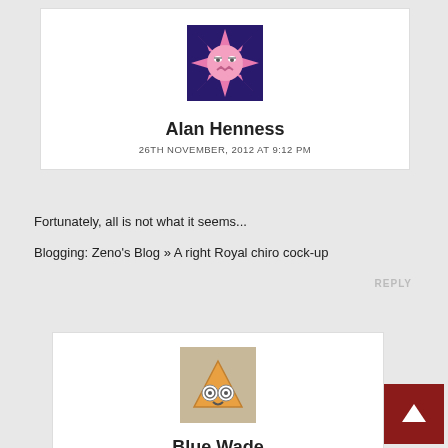[Figure (illustration): Avatar for Alan Henness — pink star/flower cartoon character on dark purple background]
Alan Henness
26TH NOVEMBER, 2012 AT 9:12 PM
Fortunately, all is not what it seems...
Blogging: Zeno's Blog » A right Royal chiro cock-up
REPLY
[Figure (illustration): Avatar for Blue Wade — cartoon triangle face with spiral eyes and smile on beige background]
Blue Wade